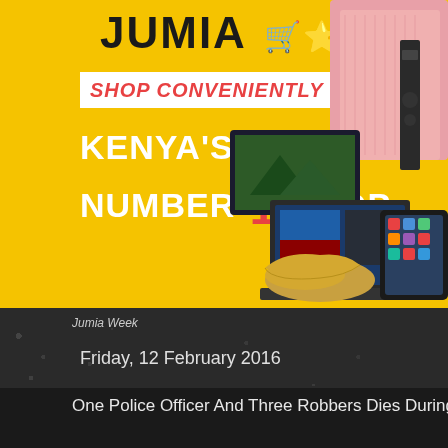[Figure (illustration): Jumia advertisement banner on yellow background showing logo with shopping cart icon, text 'SHOP CONVENIENTLY ON', 'KENYA'S NUMBER 1 ONLINE SHOP', with product images including laptop, tablet, shoes, shirt, and speaker on the right side.]
Jumia Week
Friday, 12 February 2016
One Police Officer And Three Robbers Dies During Rob